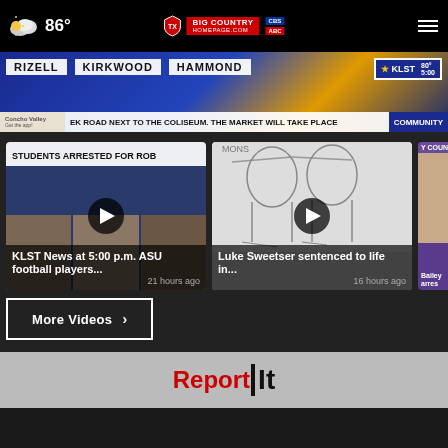86° Big Country Homepage KLST CBS
[Figure (screenshot): KLST news broadcast banner showing names RIZELL, KIRKWOOD, HAMMOND with KLST logo, 80° 5:00, and ticker text about market next to coliseum]
[Figure (screenshot): Video thumbnail: STUDENTS ARRESTED FOR ROB... - KLST News at 5:00 p.m. ASU football players...]
KLST News at 5:00 p.m. ASU football players...
21 hours ago
[Figure (screenshot): Video thumbnail: courtroom sketch - Luke Sweetser sentenced to life in...]
Luke Sweetser sentenced to life in...
16 hours ago
[Figure (screenshot): Partial video card: Y COUNTY - Bailey arres...]
Bailey arres
More Videos ›
[Figure (logo): ReportIt logo in red and black text on gray background]